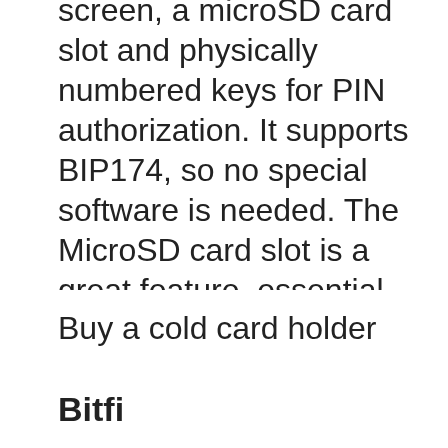can be used offline. It has a small screen, a microSD card slot and physically numbered keys for PIN authorization. It supports BIP174, so no special software is needed. The MicroSD card slot is a great feature, essential for data backup and storage. The coldcard wallet creates BIP39 seeds of 24 words, while it can import BIP39 seeds of 12, 18 and 24 words created on another wallet.
Buy a cold card holder
Bitfi